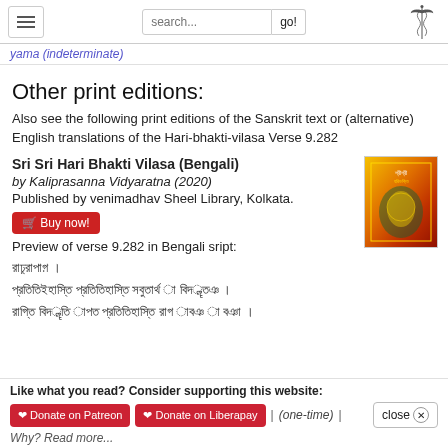search... go!
yama (indeterminate)
Other print editions:
Also see the following print editions of the Sanskrit text or (alternative) English translations of the Hari-bhakti-vilasa Verse 9.282
Sri Sri Hari Bhakti Vilasa (Bengali)
by Kaliprasanna Vidyaratna (2020)
Published by venimadhav Sheel Library, Kolkata.
[Figure (photo): Book cover of Sri Sri Hari Bhakti Vilasa (Bengali)]
Buy now!
Preview of verse 9.282 in Bengali sript:
Bengali script text lines
Like what you read? Consider supporting this website:
Donate on Patreon | Donate on Liberapay | (one-time) | close
Why? Read more...